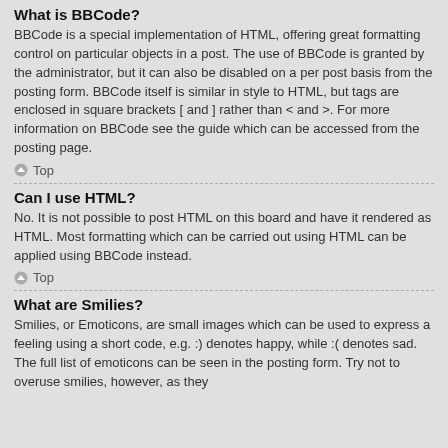What is BBCode?
BBCode is a special implementation of HTML, offering great formatting control on particular objects in a post. The use of BBCode is granted by the administrator, but it can also be disabled on a per post basis from the posting form. BBCode itself is similar in style to HTML, but tags are enclosed in square brackets [ and ] rather than < and >. For more information on BBCode see the guide which can be accessed from the posting page.
Top
Can I use HTML?
No. It is not possible to post HTML on this board and have it rendered as HTML. Most formatting which can be carried out using HTML can be applied using BBCode instead.
Top
What are Smilies?
Smilies, or Emoticons, are small images which can be used to express a feeling using a short code, e.g. :) denotes happy, while :( denotes sad. The full list of emoticons can be seen in the posting form. Try not to overuse smilies, however, as they